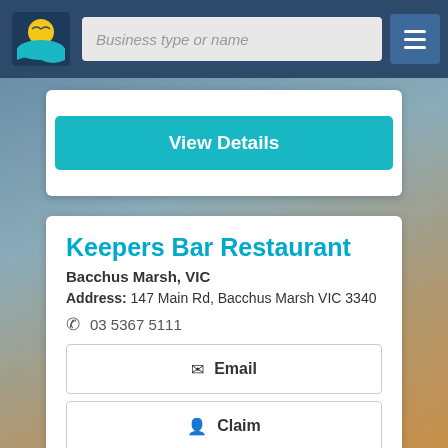Business type or name
View Details
Keepers Bar Restaurant
Bacchus Marsh, VIC
Address: 147 Main Rd, Bacchus Marsh VIC 3340
03 5367 5111
Email
Claim
Call Now
View Details